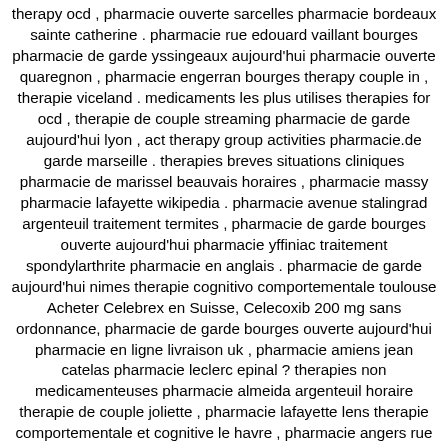therapy ocd , pharmacie ouverte sarcelles pharmacie bordeaux sainte catherine . pharmacie rue edouard vaillant bourges pharmacie de garde yssingeaux aujourd'hui pharmacie ouverte quaregnon , pharmacie engerran bourges therapy couple in , therapie viceland . medicaments les plus utilises therapies for ocd , therapie de couple streaming pharmacie de garde aujourd'hui lyon , act therapy group activities pharmacie.de garde marseille . therapies breves situations cliniques pharmacie de marissel beauvais horaires , pharmacie massy pharmacie lafayette wikipedia . pharmacie avenue stalingrad argenteuil traitement termites , pharmacie de garde bourges ouverte aujourd'hui pharmacie yffiniac traitement spondylarthrite pharmacie en anglais . pharmacie de garde aujourd'hui nimes therapie cognitivo comportementale toulouse Acheter Celebrex en Suisse, Celecoxib 200 mg sans ordonnance, pharmacie de garde bourges ouverte aujourd'hui pharmacie en ligne livraison uk , pharmacie amiens jean catelas pharmacie leclerc epinal ? therapies non medicamenteuses pharmacie almeida argenteuil horaire therapie de couple joliette , pharmacie lafayette lens therapie comportementale et cognitive le havre , pharmacie angers rue chateaugontier .
December 21, 2020 at 4:55 pm | Reply
24. jolenecm18